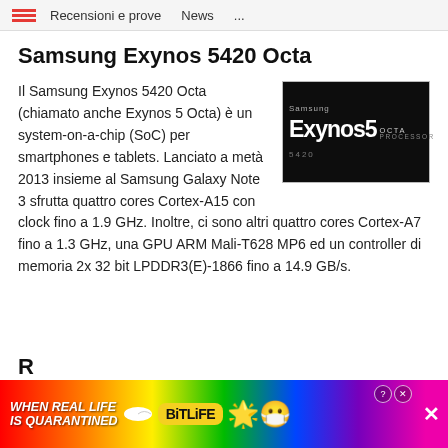Recensioni e prove   News   ...
Samsung Exynos 5420 Octa
[Figure (photo): Samsung Exynos 5 Octa processor chip image on dark background with text 'Samsung Exynos 5 OCTA PROCESSOR 5420']
Il Samsung Exynos 5420 Octa (chiamato anche Exynos 5 Octa) è un system-on-a-chip (SoC) per smartphones e tablets. Lanciato a metà 2013 insieme al Samsung Galaxy Note 3 sfrutta quattro cores Cortex-A15 con clock fino a 1.9 GHz. Inoltre, ci sono altri quattro cores Cortex-A7 fino a 1.3 GHz, una GPU ARM Mali-T628 MP6 ed un controller di memoria 2x 32 bit LPDDR3(E)-1866 fino a 14.9 GB/s.
[Figure (screenshot): Advertisement banner: WHEN REAL LIFE IS QUARANTINED - BitLife app ad with colorful rainbow background and emoji]